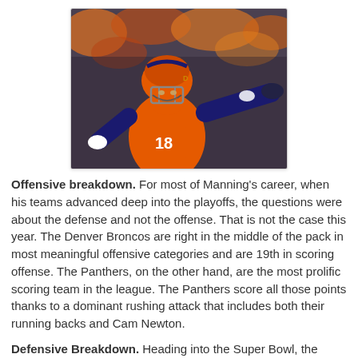[Figure (photo): Football player wearing Denver Broncos orange jersey number 18 (Peyton Manning), pointing with right hand, smiling, in a stadium with orange-clad fans in background.]
Offensive breakdown. For most of Manning's career, when his teams advanced deep into the playoffs, the questions were about the defense and not the offense. That is not the case this year. The Denver Broncos are right in the middle of the pack in most meaningful offensive categories and are 19th in scoring offense. The Panthers, on the other hand, are the most prolific scoring team in the league. The Panthers score all those points thanks to a dominant rushing attack that includes both their running backs and Cam Newton.
Defensive Breakdown. Heading into the Super Bowl, the game has been framed as the Broncos' top ranked defense